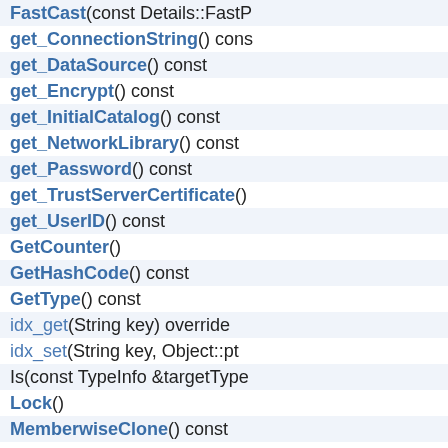FastCast(const Details::FastP...
get_ConnectionString() cons...
get_DataSource() const
get_Encrypt() const
get_InitialCatalog() const
get_NetworkLibrary() const...
get_Password() const
get_TrustServerCertificate()...
get_UserID() const
GetCounter()
GetHashCode() const
GetType() const
idx_get(String key) override
idx_set(String key, Object::pt...
Is(const TypeInfo &targetType...
Lock()
MemberwiseClone() const
Object()
Object(Object const &x)